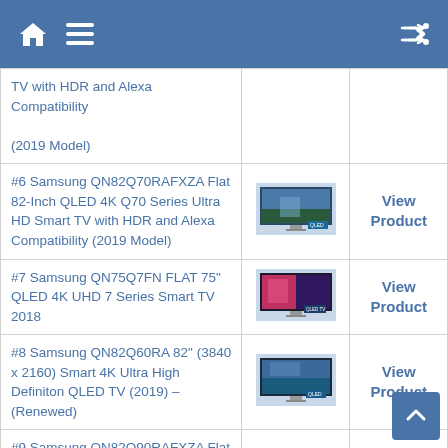Home | Menu | Shuffle icons
TV with HDR and Alexa Compatibility (2019 Model)
#6 Samsung QN82Q70RAFXZA Flat 82-Inch QLED 4K Q70 Series Ultra HD Smart TV with HDR and Alexa Compatibility (2019 Model) | View Product
#7 Samsung QN75Q7FN FLAT 75" QLED 4K UHD 7 Series Smart TV 2018 | View Product
#8 Samsung QN82Q60RA 82" (3840 x 2160) Smart 4K Ultra High Definiton QLED TV (2019) – (Renewed) | View Product
#9 Samsung QN82Q90RAFXZA Flat 82-Inch QLED 4K Q90 Series Ultra HD Smart TV with HDR and Alexa Compatibility | View Product